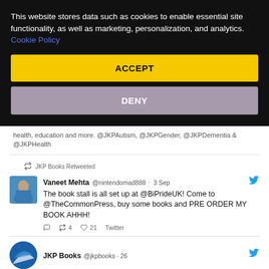This website stores data such as cookies to enable essential site functionality, as well as marketing, personalization, and analytics. Cookie Policy
ACCEPT
DENY
health, education and more. @JKPAutism, @JKPGender, @JKPDementia & @JKPHealth
JKP Books Retweeted
Vaneet Mehta @nintendomad888 · 3 Sep
The book stall is all set up at @BiPrideUK! Come to @TheCommonPress, buy some books and PRE ORDER MY BOOK AHHH!
♡ 4   ♡ 21   Twitter
JKP Books @jkpbooks · 26